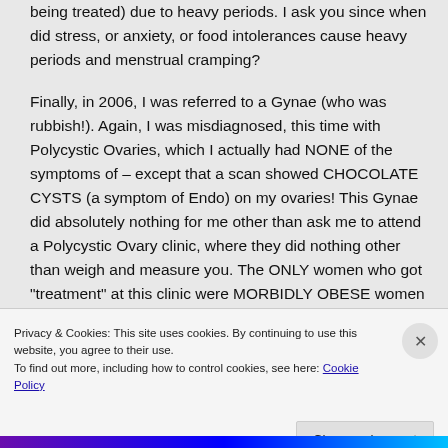being treated) due to heavy periods. I ask you since when did stress, or anxiety, or food intolerances cause heavy periods and menstrual cramping?

Finally, in 2006, I was referred to a Gynae (who was rubbish!). Again, I was misdiagnosed, this time with Polycystic Ovaries, which I actually had NONE of the symptoms of – except that a scan showed CHOCOLATE CYSTS (a symptom of Endo) on my ovaries! This Gynae did absolutely nothing for me other than ask me to attend a Polycystic Ovary clinic, where they did nothing other than weigh and measure you. The ONLY women who got "treatment" at this clinic were MORBIDLY OBESE women with PCOS who were given Metformin to
Privacy & Cookies: This site uses cookies. By continuing to use this website, you agree to their use.
To find out more, including how to control cookies, see here: Cookie Policy
Close and accept